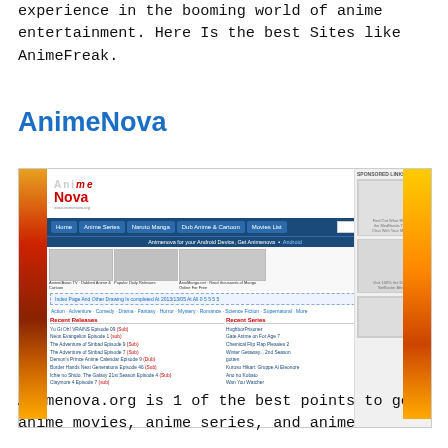experience in the booming world of anime entertainment. Here Is the best Sites like AnimeFreak.
AnimeNova
[Figure (screenshot): Screenshot of AnimeNova website (animenova.org) showing the homepage with navigation bar (Home, Anime Series, Naruto Manga, Dub Anime & Cartoon, Movies List, search box), thumbnail rows of anime series, Recent Releases and Recent Series columns, and sidebar advertisements.]
Animenova.org is 1 of the best points to get anime movies, anime series, and anime